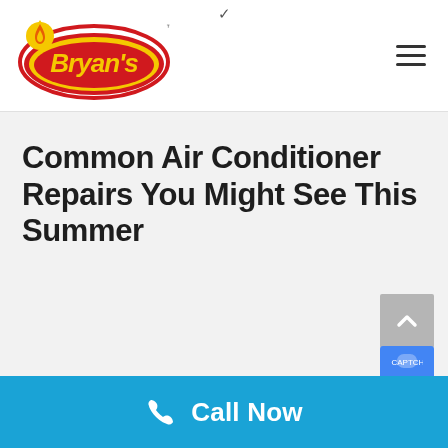Bryan's (logo)
Common Air Conditioner Repairs You Might See This Summer
[Figure (logo): Bryan's company logo with red oval, yellow flame/water drop icon, and stylized yellow text on red background]
Call Now